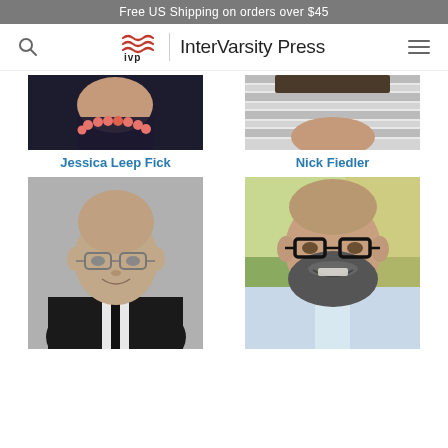Free US Shipping on orders over $45
[Figure (logo): InterVarsity Press logo with IVP wavy lines mark and navigation bar with search and hamburger menu icons]
[Figure (photo): Partial photo of Jessica Leep Fick, cropped showing necklace and shoulders]
[Figure (photo): Partial photo of Nick Fiedler, cropped showing striped shirt and hat brim]
Jessica Leep Fick
Nick Fiedler
[Figure (photo): Black and white photo of an older bald man with glasses wearing a dark suit and tie]
[Figure (photo): Color photo of a smiling bearded man with black-rimmed glasses wearing a light blue shirt, with blurred green foliage background]